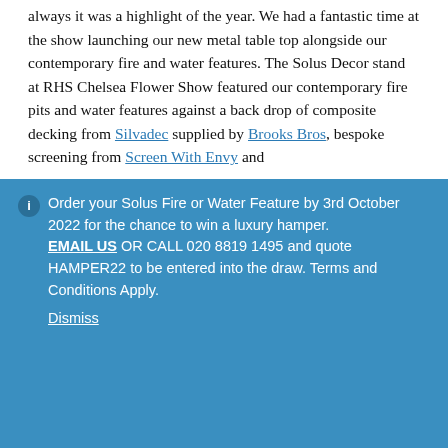always it was a highlight of the year. We had a fantastic time at the show launching our new metal table top alongside our contemporary fire and water features. The Solus Decor stand at RHS Chelsea Flower Show featured our contemporary fire pits and water features against a back drop of composite decking from Silvadec supplied by Brooks Bros, bespoke screening from Screen With Envy and
Order your Solus Fire or Water Feature by 3rd October 2022 for the chance to win a luxury hamper. EMAIL US OR CALL 020 8819 1495 and quote HAMPER22 to be entered into the draw. Terms and Conditions Apply. Dismiss